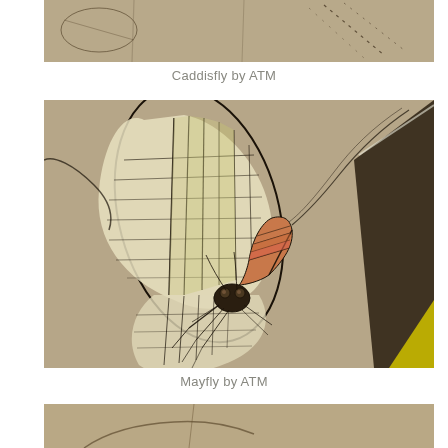[Figure (illustration): Partial cropped illustration of a Caddisfly painting by ATM, showing an insect on a tan/beige background with dotted lines visible.]
Caddisfly by ATM
[Figure (illustration): Detailed illustration/painting of a Mayfly by ATM. The mayfly is depicted with large intricately veined wings (white, cream, and green tones with black veining), an orange and dark segmented abdomen, and visible legs against a warm tan/beige background. A dark diagonal stripe element is visible at the right.]
Mayfly by ATM
[Figure (illustration): Partial cropped illustration at the bottom of the page, showing the beginning of another insect painting on a tan background.]